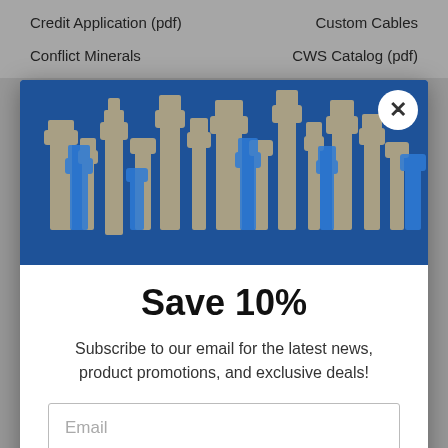Credit Application (pdf)
Custom Cables
Conflict Minerals
CWS Catalog (pdf)
[Figure (illustration): Modal popup with blue background showing various cable connector silhouettes (USB, RJ45, HDMI, etc.) arranged like a cityscape against a blue background]
Save 10%
Subscribe to our email for the latest news, product promotions, and exclusive deals!
Email
Subscribe
No, thanks